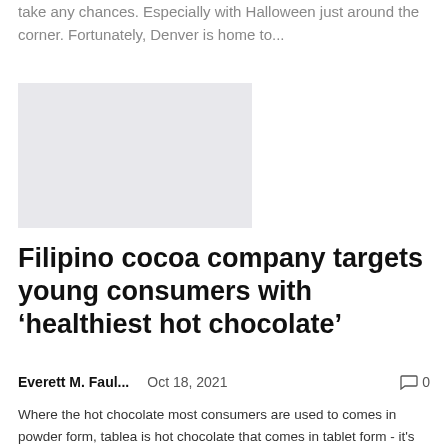take any chances. Especially with Halloween just around the corner. Fortunately, Denver is home to...
[Figure (photo): Gray placeholder image for an article photo]
Filipino cocoa company targets young consumers with ‘healthiest hot chocolate’
Everett M. Faul...    Oct 18, 2021    💬 0
Where the hot chocolate most consumers are used to comes in powder form, tablea is hot chocolate that comes in tablet form - it’s made from 100% cocoa beans which are roasted, crushed, molded.